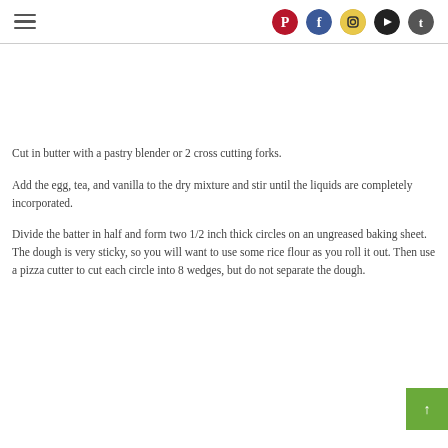hamburger menu | Pinterest | Facebook | Instagram | YouTube | Twitter
Cut in butter with a pastry blender or 2 cross cutting forks.
Add the egg, tea, and vanilla to the dry mixture and stir until the liquids are completely incorporated.
Divide the batter in half and form two 1/2 inch thick circles on an ungreased baking sheet. The dough is very sticky, so you will want to use some rice flour as you roll it out. Then use a pizza cutter to cut each circle into 8 wedges, but do not separate the dough.